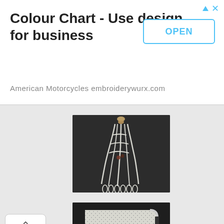[Figure (other): Advertisement banner: 'Colour Chart - Use design for business' by American Motorcycles embroiderywurx.com with an OPEN button]
[Figure (photo): Photo of white macrame/knotted cord on dark background]
[Figure (photo): Photo of white knitted or mesh fabric square on dark background]